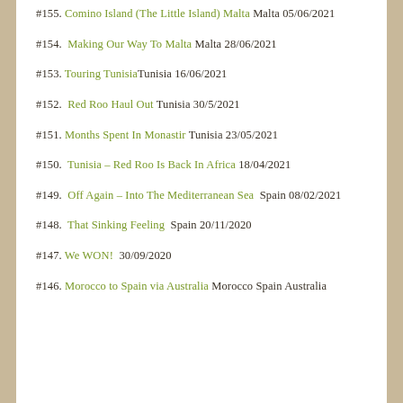#155. Comino Island (The Little Island) Malta Malta 05/06/2021
#154. Making Our Way To Malta Malta 28/06/2021
#153. Touring Tunisia Tunisia 16/06/2021
#152. Red Roo Haul Out Tunisia 30/5/2021
#151. Months Spent In Monastir Tunisia 23/05/2021
#150. Tunisia – Red Roo Is Back In Africa 18/04/2021
#149. Off Again – Into The Mediterranean Sea Spain 08/02/2021
#148. That Sinking Feeling Spain 20/11/2020
#147. We WON! 30/09/2020
#146. Morocco to Spain via Australia Morocco Spain Australia